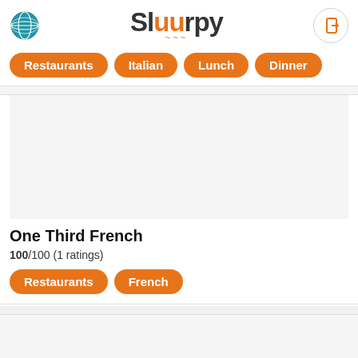Sluurpy
Restaurants
Italian
Lunch
Dinner
One Third French
100/100 (1 ratings)
Restaurants
French